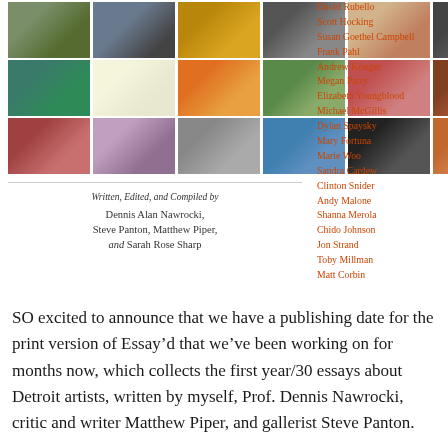[Figure (photo): Grid of 18 small artwork/photograph thumbnails arranged in 3 rows of 6]
Written, Edited, and Compiled by Dennis Alan Nawrocki, Steve Panton, Matthew Piper, and Sarah Rose Sharp
David Rubello
Scott Hocking
Susan Goethel Campbell
Frank Pahl
Andrew Krieger
Megan Parry
Elizabeth Youngblood
Michael McGillis
Dylan Spaysky
Mary Fortuna
Marie Woo
Sandra Cardew
Clinton Snider
Andy Malone
Shanna Merola
Chido Johnson
Jon Strand
Toby Millman
Matt Corbin
SO excited to announce that we have a publishing date for the print version of Essay’d that we’ve been working on for months now, which collects the first year/30 essays about Detroit artists, written by myself, Prof. Dennis Nawrocki, critic and writer Matthew Piper, and gallerist Steve Panton.